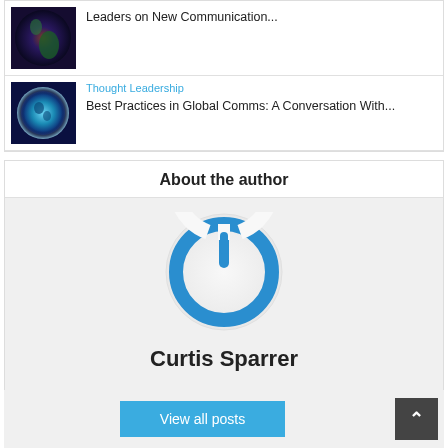[Figure (photo): Thumbnail photo of Earth globe with South America visible, dark space background]
Leaders on New Communication...
[Figure (photo): Thumbnail photo of glowing blue Earth globe]
Thought Leadership
Best Practices in Global Comms: A Conversation With...
About the author
[Figure (logo): Blue circular power button icon - author avatar for Curtis Sparrer]
Curtis Sparrer
View all posts